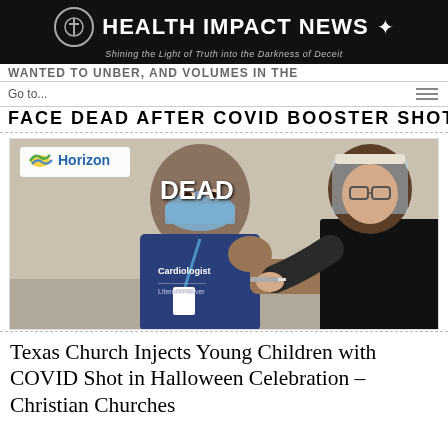HEALTH IMPACT NEWS — Shining the Light of Truth into the Darkness of Deceit
WANTED TO UNBER, AND VOLUMES IN THE FACE DEAD AFTER COVID BOOSTER SHOT
Go to...
[Figure (photo): A man wearing a blue surgical mask and a dark blue 'Cardiologist' t-shirt is receiving an injection in his arm from a female healthcare worker wearing a face shield and black clothing. The hospital logo 'Horizon' appears in the top left corner. The word 'DEAD' is overlaid in white bold text above the man's head.]
Texas Church Injects Young Children with COVID Shot in Halloween Celebration – Christian Churches